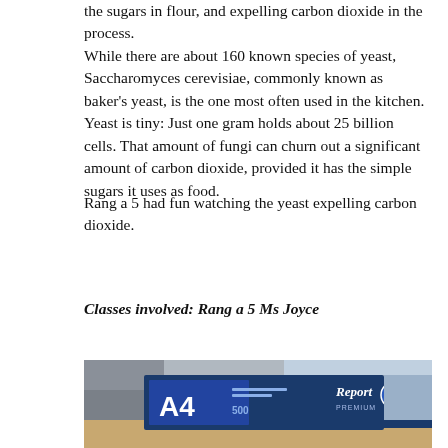the sugars in flour, and expelling carbon dioxide in the process.
While there are about 160 known species of yeast, Saccharomyces cerevisiae, commonly known as baker's yeast, is the one most often used in the kitchen. Yeast is tiny: Just one gram holds about 25 billion cells. That amount of fungi can churn out a significant amount of carbon dioxide, provided it has the simple sugars it uses as food.
Rang a 5 had fun watching the yeast expelling carbon dioxide.
Classes involved: Rang a 5 Ms Joyce
[Figure (photo): A photo showing a box of A4 Report Premium paper (500 sheets) on a desk, with a student partially visible in the background.]